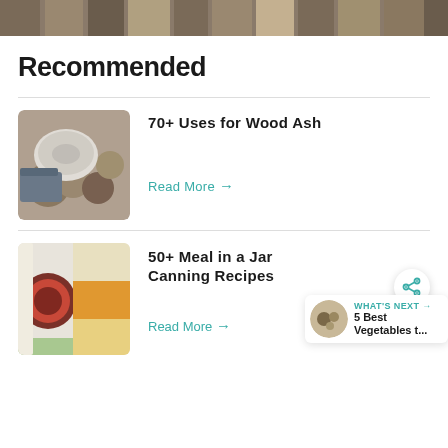[Figure (photo): Top cropped photo of vertical wooden posts or logs]
Recommended
[Figure (photo): Photo of wood ash pile on rocks with a metal trowel or shovel]
70+ Uses for Wood Ash
Read More →
[Figure (photo): Photo of meal in a jar ingredients: kidney beans, diced carrots, corn, and pasta]
50+ Meal in a Jar Canning Recipes
Read More →
WHAT'S NEXT → 5 Best Vegetables t...